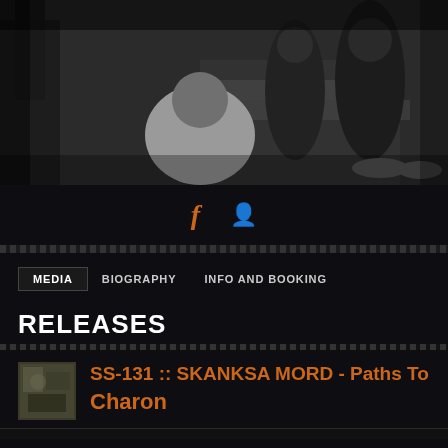[Figure (photo): Black and white band photo showing multiple members in an outdoor rocky/wooded setting. One member in white shirt in foreground, others behind in dark clothing.]
[Figure (infographic): Social media icons: Facebook (f) and another icon, both in orange color]
MEDIA   BIOGRAPHY   INFO AND BOOKING
RELEASES
SS-131 :: SKANKSA MORD - Paths To Charon